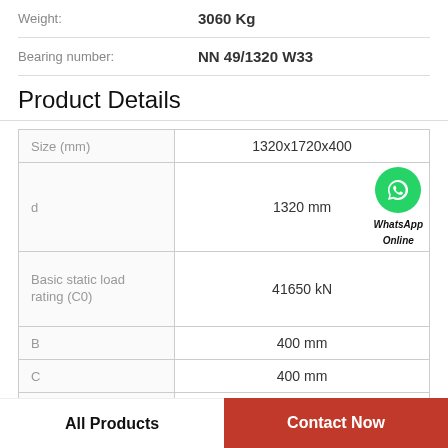|  |  |
| --- | --- |
| Weight: | 3060 Kg |
| Bearing number: | NN 49/1320 W33 |
Product Details
| Property | Value |
| --- | --- |
| Size (mm) | 1320x1720x400 |
| d | 1320 mm |
| Basic static load rating (C0) | 41650 kN |
| B | 400 mm |
| C | 400 mm |
All Products
Contact Now